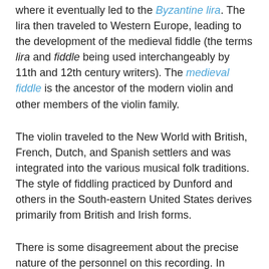where it eventually led to the Byzantine lira. The lira then traveled to Western Europe, leading to the development of the medieval fiddle (the terms lira and fiddle being used interchangeably by 11th and 12th century writers). The medieval fiddle is the ancestor of the modern violin and other members of the violin family.
The violin traveled to the New World with British, French, Dutch, and Spanish settlers and was integrated into the various musical folk traditions. The style of fiddling practiced by Dunford and others in the South-eastern United States derives primarily from British and Irish forms.
There is some disagreement about the precise nature of the personnel on this recording. In Smith's booklet, he reproduces the original label copy, which states that "Old Shoes and Leggins" is a "vocal solo with harmonica, violin, guitar, banjo, autoharp." However, the records kept by the record company, and reproduced in the 1997 reissue of the Anthology, give the personnel as follows: Uncle Eck Dunford, vocal and fiddle; Ernest Stoneman, harmonica; Hattie Stoneman, mandolin; Bolen Frost, banjo." Listening to the